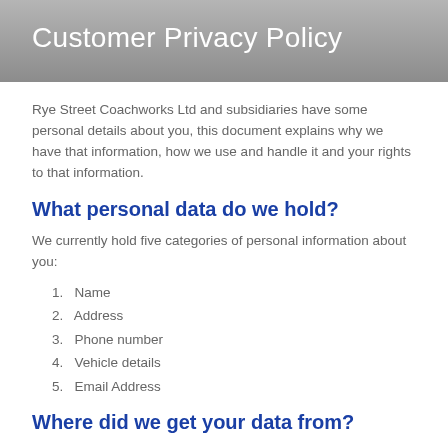Customer Privacy Policy
Rye Street Coachworks Ltd and subsidiaries have some personal details about you, this document explains why we have that information, how we use and handle it and your rights to that information.
What personal data do we hold?
We currently hold five categories of personal information about you:
1. Name
2. Address
3. Phone number
4. Vehicle details
5. Email Address
Where did we get your data from?